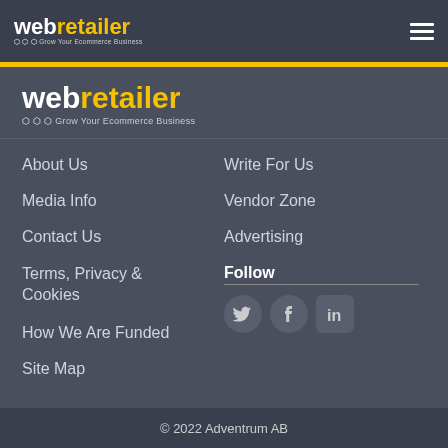webretailer - Grow Your Ecommerce Business
[Figure (logo): Web Retailer logo - Grow Your Ecommerce Business]
About Us
Write For Us
Media Info
Vendor Zone
Contact Us
Advertising
Terms, Privacy & Cookies
Follow
[Figure (infographic): Social media icons: Twitter, Facebook, LinkedIn]
How We Are Funded
Site Map
© 2022 Adventrum AB